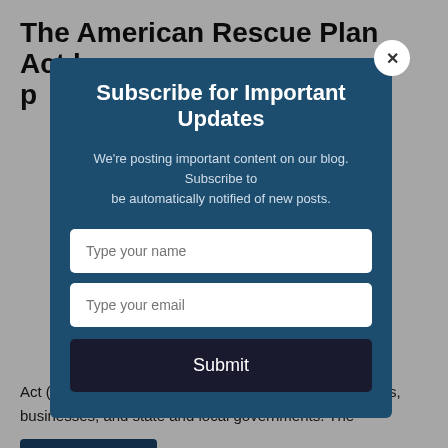The American Rescue Plan Act has p...
Act (ARPA) includes $1.9 trillion in funding for individuals, businesses, and state and local governments. The
Subscribe for Important Updates
We're posting important content on our blog. Subscribe to be automatically notified of new posts.
Type your name
Type your email
Submit
read more >